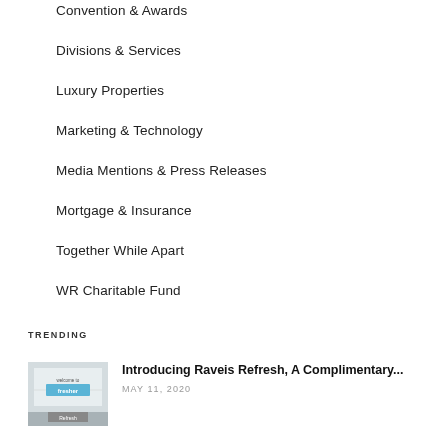Convention & Awards
Divisions & Services
Luxury Properties
Marketing & Technology
Media Mentions & Press Releases
Mortgage & Insurance
Together While Apart
WR Charitable Fund
TRENDING
[Figure (photo): Promotional image for Raveis Refresh service showing 'welcome to fresher' text and Refresh branding]
Introducing Raveis Refresh, A Complimentary...
MAY 11, 2020